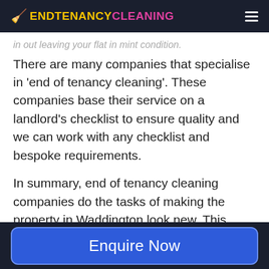ENDTENANCYCLEANING
in out leaving your flat in mint condition.
There are many companies that specialise in 'end of tenancy cleaning'. These companies base their service on a landlord's checklist to ensure quality and we can work with any checklist and bespoke requirements.
In summary, end of tenancy cleaning companies do the tasks of making the property in Waddington look new. This means the tenants are likely to lose less of their deposits. This is also helpful for landlords to get new tenants, as the place is clean.
Enquire Now